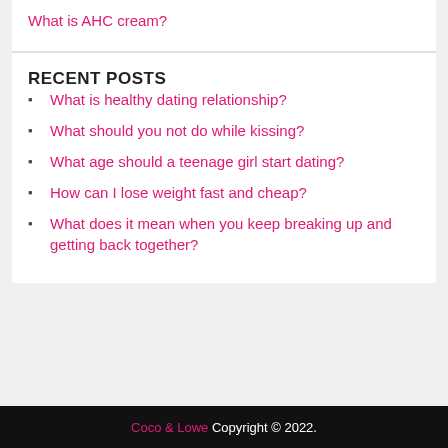What is AHC cream?
RECENT POSTS
What is healthy dating relationship?
What should you not do while kissing?
What age should a teenage girl start dating?
How can I lose weight fast and cheap?
What does it mean when you keep breaking up and getting back together?
Coco & Lowe Copyright © 2022.